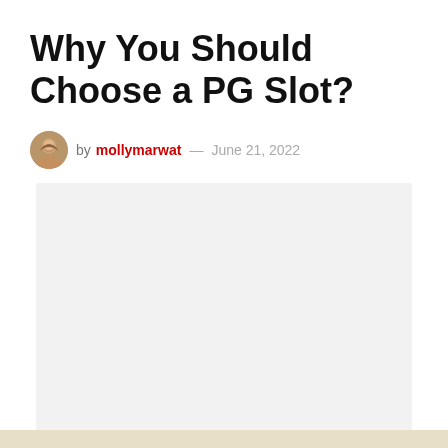Why You Should Choose a PG Slot?
by mollymarwat — June 21, 2022
[Figure (photo): Large light gray placeholder image block below the byline]